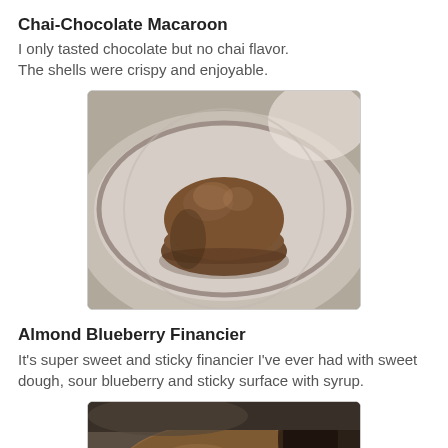Chai-Chocolate Macaroon
I only tasted chocolate but no chai flavor. The shells were crispy and enjoyable.
[Figure (photo): A chocolate macaron on a plate, photographed close-up on a restaurant dish.]
Almond Blueberry Financier
It's super sweet and sticky financier I've ever had with sweet dough, sour blueberry and sticky surface with syrup.
[Figure (photo): Partial view of an Almond Blueberry Financier, cropped at the bottom of the page.]